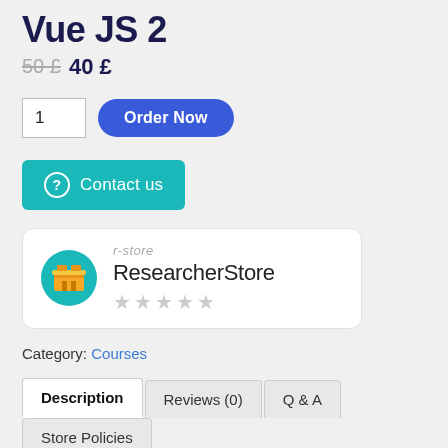Vue JS 2
50 £ 40 £
1  Order Now
Contact us
r-store
ResearcherStore
★★★★★ (empty stars)
Category: Courses
Description  Reviews (0)  Q & A  Store Policies  Inquiries